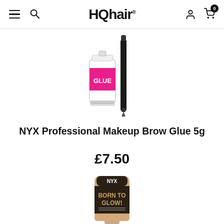HQhair
[Figure (photo): NYX Professional Makeup Brow Glue product photo showing a pink tube labeled GLUE and a black applicator brush]
NYX Professional Makeup Brow Glue 5g
£7.50
[Figure (photo): NYX Professional Makeup Born To Glow foundation tube in a beige/nude shade]